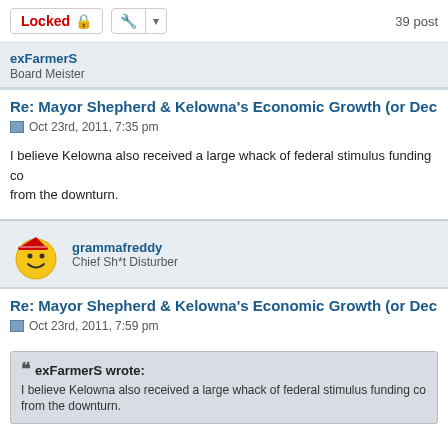Locked | tool button | 39 posts
exFarmerS
Board Meister
Re: Mayor Shepherd & Kelowna's Economic Growth (or Decline)
Oct 23rd, 2011, 7:35 pm
I believe Kelowna also received a large whack of federal stimulus funding coming from the downturn.
grammafreddy
Chief Sh*t Disturber
Re: Mayor Shepherd & Kelowna's Economic Growth (or Decline)
Oct 23rd, 2011, 7:59 pm
exFarmerS wrote:
I believe Kelowna also received a large whack of federal stimulus funding coming from the downturn.